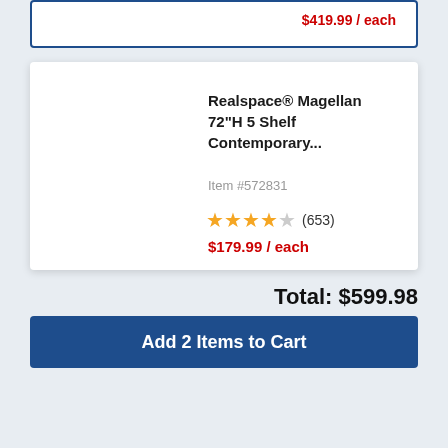$419.99 / each
Realspace® Magellan 72"H 5 Shelf Contemporary...
Item #572831
★★★★☆ (653)
$179.99 / each
Total: $599.98
Add 2 Items to Cart